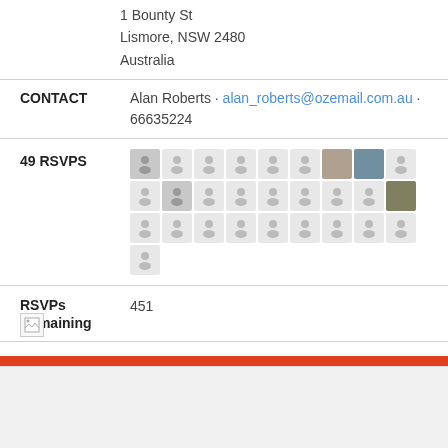1 Bounty St
Lismore, NSW 2480
Australia
CONTACT: Alan Roberts · alan_roberts@ozemail.com.au · 66635224
49 RSVPS
[Figure (other): Grid of 30 RSVP avatar thumbnails, mostly grey placeholder silhouettes with two real photos]
RSVPs Remaining: 451
[Figure (other): Broken image icon]
[Figure (other): Orange/red banner bar]
Will you come?
First Na...